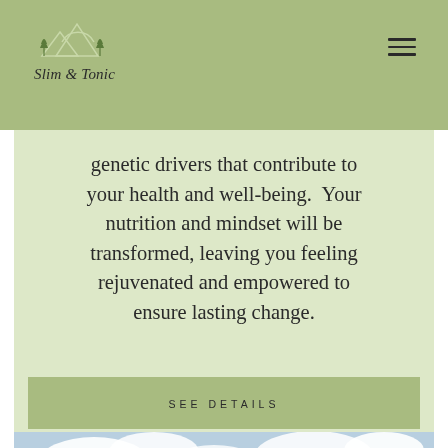Slim & Tonic
genetic drivers that contribute to your health and well-being.  Your nutrition and mindset will be transformed, leaving you feeling rejuvenated and empowered to ensure lasting change.
SEE DETAILS
[Figure (photo): Landscape photo of mountains with clouds and tall grass/reeds in the foreground]